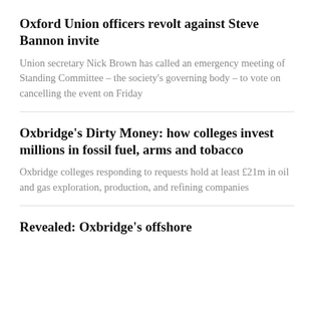Oxford Union officers revolt against Steve Bannon invite
Union secretary Nick Brown has called an emergency meeting of Standing Committee – the society's governing body – to vote on cancelling the event on Friday
Oxbridge's Dirty Money: how colleges invest millions in fossil fuel, arms and tobacco
Oxbridge colleges responding to requests hold at least £21m in oil and gas exploration, production, and refining companies
Revealed: Oxbridge's offshore